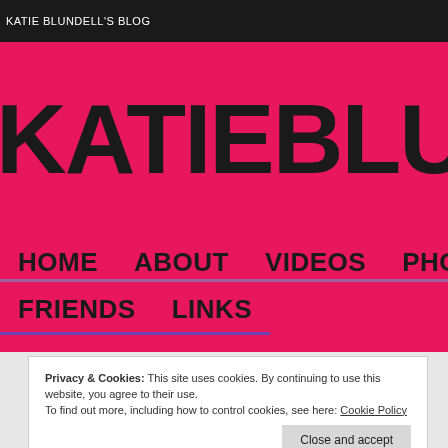KATIE BLUNDELL'S BLOG
KATIEBLUND
HOME
ABOUT
VIDEOS
PHOTO
FRIENDS
LINKS
Privacy & Cookies: This site uses cookies. By continuing to use this website, you agree to their use.
To find out more, including how to control cookies, see here: Cookie Policy
Close and accept
Slopestyle